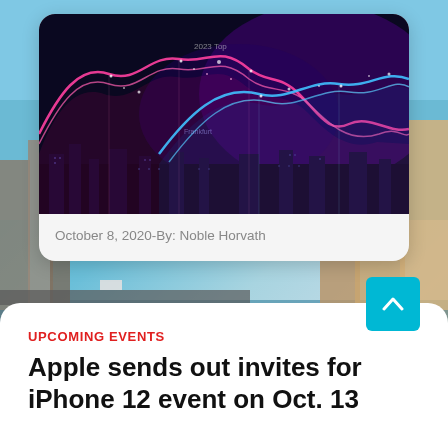[Figure (photo): Abstract digital wave visualization with pink and blue glowing waves over dark background representing data or technology]
October 8, 2020-By: Noble Horvath
[Figure (photo): Background city waterfront photo showing Stockholm or similar city with buildings, water, bridge and blue sky]
UPCOMING EVENTS
Apple sends out invites for iPhone 12 event on Oct. 13